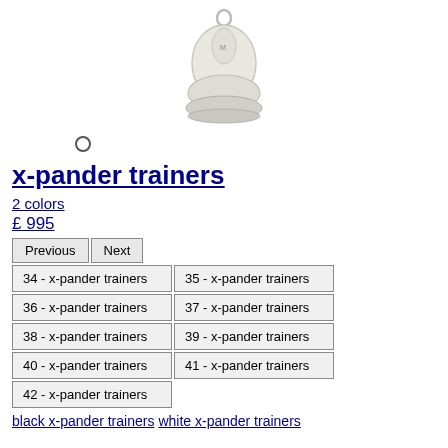[Figure (photo): White athletic trainer/sneaker shoe viewed from the front/top]
○
x-pander trainers
2 colors
£ 995
Previous  Next
| 34 - x-pander trainers | 35 - x-pander trainers |
| 36 - x-pander trainers | 37 - x-pander trainers |
| 38 - x-pander trainers | 39 - x-pander trainers |
| 40 - x-pander trainers | 41 - x-pander trainers |
| 42 - x-pander trainers |  |
black x-pander trainers  white x-pander trainers